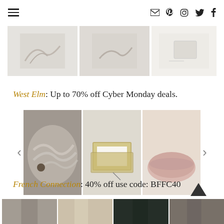Navigation header with hamburger menu and social icons (email, Pinterest, Instagram, Twitter, Facebook)
[Figure (photo): Three product images partially visible at top of page - clothing items and a small product on white background]
West Elm: Up to 70% off Cyber Monday deals.
[Figure (photo): Carousel with three product images: fur coat/blanket, gold tray set, and pink velvet pouf ottoman. Left and right navigation arrows.]
French Connection: 40% off use code: BFFC40
[Figure (photo): Four fashion model images partially visible at bottom of page showing clothing items]